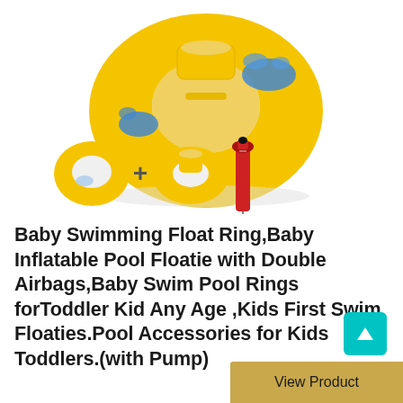[Figure (photo): Yellow baby swimming float ring with blue decorative patterns and a seat. Below it are shown the component parts: a small yellow ring, a yellow seat ring, and a red hand pump, arranged with a plus sign between them.]
Baby Swimming Float Ring,Baby Inflatable Pool Floatie with Double Airbags,Baby Swim Pool Rings forToddler Kid Any Age ,Kids First Swim Floaties.Pool Accessories for Kids Toddlers.(with Pump)